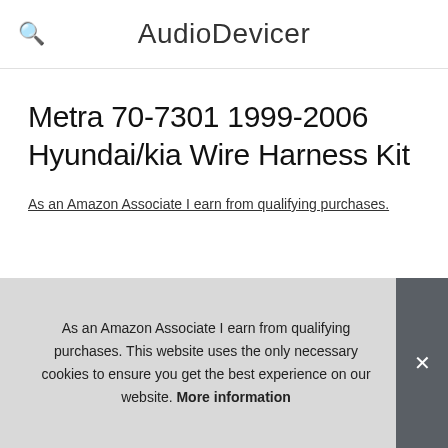AudioDevicer
Metra 70-7301 1999-2006 Hyundai/kia Wire Harness Kit
As an Amazon Associate I earn from qualifying purchases.
[Figure (photo): Wire harness kit showing multiple colored wires fanned out]
ME[truncated]
pressure sensitive, and do not break easily like the cheaper
As an Amazon Associate I earn from qualifying purchases. This website uses the only necessary cookies to ensure you get the best experience on our website. More information